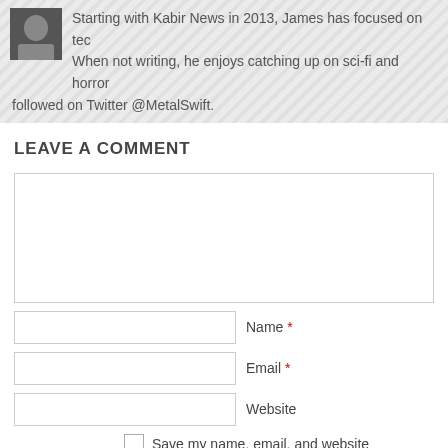Starting with Kabir News in 2013, James has focused on tec... When not writing, he enjoys catching up on sci-fi and horror followed on Twitter @MetalSwift.
LEAVE A COMMENT
Name * [input field]
Email * [input field]
Website [input field]
Save my name, email, and website comment.